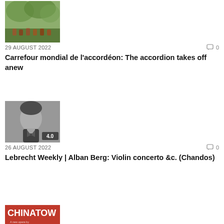[Figure (photo): Outdoor gathering under trees, people seated, greenery visible]
29 AUGUST 2022
0
Carrefour mondial de l’accordéon: The accordion takes off anew
[Figure (photo): Black and white portrait of a man smiling, with rating badge showing 4.0]
26 AUGUST 2022
0
Lebrecht Weekly | Alban Berg: Violin concerto &c. (Chandos)
[Figure (photo): Red poster for CHINATOWN opera by Vancouver Playhouse, September 2022]
25 AUGUST 2022
0
Newswire | City Opera Vancouver’s “CHINATOWN”